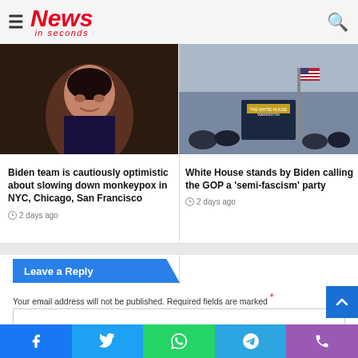News in seconds
[Figure (photo): Close-up photo of a woman speaking, appearing to be at a congressional hearing or official setting. Dark background.]
Biden team is cautiously optimistic about slowing down monkeypox in NYC, Chicago, San Francisco
2 days ago
[Figure (photo): Photo of the White House briefing room podium with an American flag and audience members.]
White House stands by Biden calling the GOP a 'semi-fascism' party
2 days ago
Leave a Reply
Your email address will not be published. Required fields are marked *